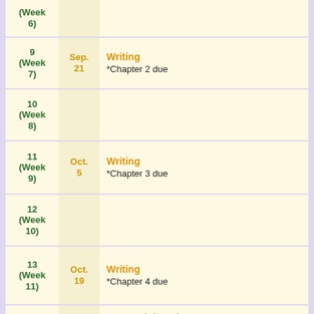| Week | Date | Content |
| --- | --- | --- |
| (Week 6) |  |  |
| 9
(Week 7) | Sep. 21 | Writing
*Chapter 2 due |
| 10
(Week 8) |  |  |
| 11
(Week 9) | Oct. 5 | Writing
*Chapter 3 due |
| 12
(Week 10) |  |  |
| 13
(Week 11) | Oct. 19 | Writing
*Chapter 4 due |
|  |  | Reexamining Ideas
• Reevaluating assumptions
  ◦ What assumptions are |